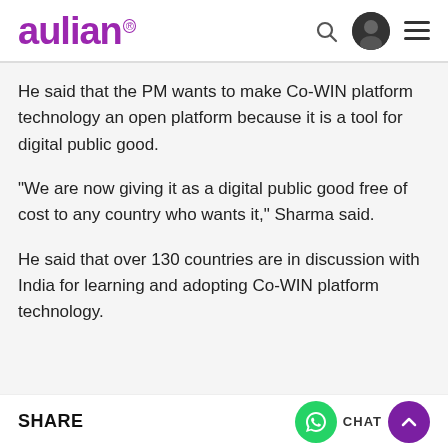aulian
He said that the PM wants to make Co-WIN platform technology an open platform because it is a tool for digital public good.
"We are now giving it as a digital public good free of cost to any country who wants it," Sharma said.
He said that over 130 countries are in discussion with India for learning and adopting Co-WIN platform technology.
SHARE   CHAT